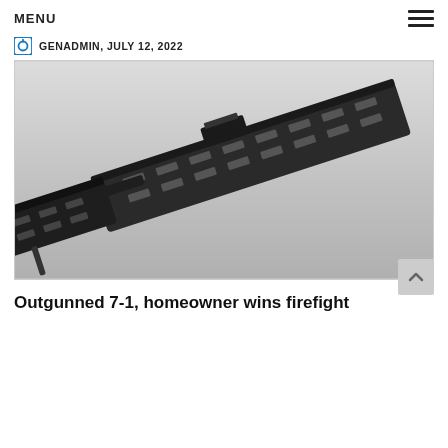MENU
GENADMIN, JULY 12, 2022
[Figure (photo): Close-up photograph of a black tactical rifle with M-LOK handguard and muzzle device on a light grey background. A second partial rifle is visible on the left side of the image.]
Outgunned 7-1, homeowner wins firefight